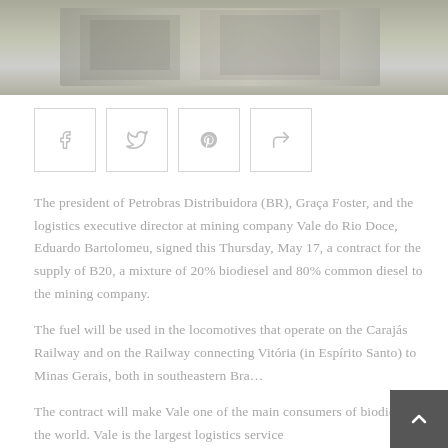[Figure (photo): Grayscale/muted photo banner at the top of the page, showing indistinct figures or a scene in muted olive/gray tones]
[Figure (infographic): Four social sharing buttons: Facebook (f), Twitter (bird), Pinterest (p), and a share/forward icon, arranged horizontally]
The president of Petrobras Distribuidora (BR), Graça Foster, and the logistics executive director at mining company Vale do Rio Doce, Eduardo Bartolomeu, signed this Thursday, May 17, a contract for the supply of B20, a mixture of 20% biodiesel and 80% common diesel to the mining company.
The fuel will be used in the locomotives that operate on the Carajás Railway and on the Railway connecting Vitória (in Espírito Santo) to Minas Gerais, both in southeastern Bra...
The contract will make Vale one of the main consumers of biodiesel in the world. Vale is the largest logistics service